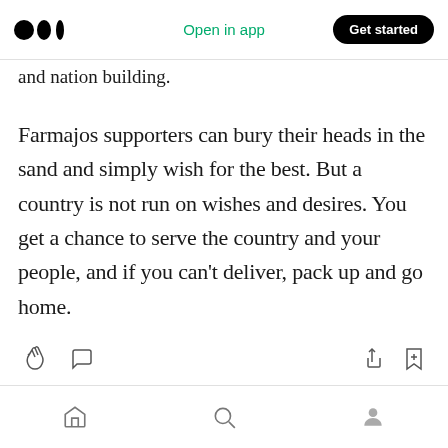Medium app header — logo, Open in app, Get started
and nation building.
Farmajos supporters can bury their heads in the sand and simply wish for the best. But a country is not run on wishes and desires. You get a chance to serve the country and your people, and if you can't deliver, pack up and go home.
Bottom navigation bar with home, search, and profile icons